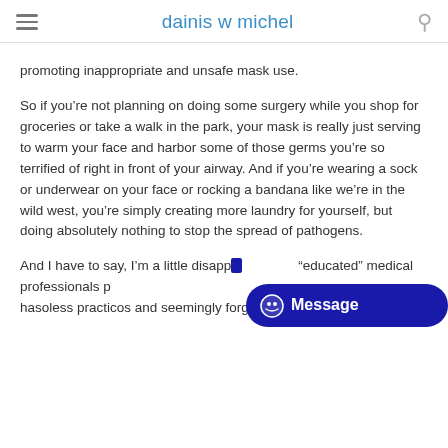dainis w michel
promoting inappropriate and unsafe mask use.
So if you’re not planning on doing some surgery while you shop for groceries or take a walk in the park, your mask is really just serving to warm your face and harbor some of those germs you’re so terrified of right in front of your airway. And if you’re wearing a sock or underwear on your face or rocking a bandana like we’re in the wild west, you’re simply creating more laundry for yourself, but doing absolutely nothing to stop the spread of pathogens.
And I have to say, I’m a little disapp... “educated” medical professionals p... hasoless practicos and seemingly forgetting their